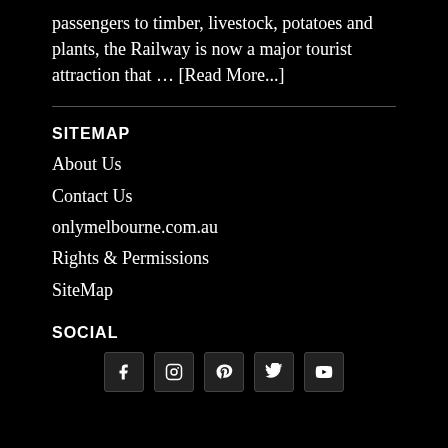passengers to timber, livestock, potatoes and plants, the Railway is now a major tourist attraction that … [Read More...]
SITEMAP
About Us
Contact Us
onlymelbourne.com.au
Rights & Permissions
SiteMap
SOCIAL
[Figure (other): Social media icons: Facebook, Instagram, Pinterest, Twitter, YouTube]